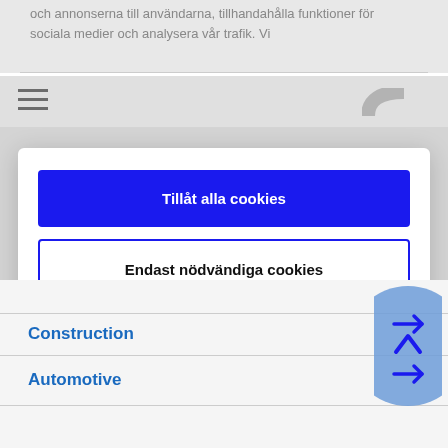och annonserna till användarna, tillhandahålla funktioner för sociala medier och analysera vår trafik. Vi
[Figure (screenshot): Hamburger menu icon (three horizontal lines) and partial phone/contact icon in navigation bar]
Tillåt alla cookies
Endast nödvändiga cookies
Powered by Cookiebot by Usercentrics
Construction
Automotive
[Figure (illustration): Blue circular button with arrow icons for navigation (up chevron and right arrow)]